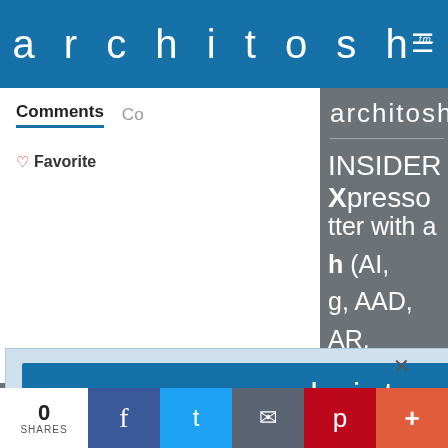architosh tm.
Comments  Co
♡ Favorite
architosh
INSIDER Xpresso
tter with a h (AI, g, AAD, AR, ting, and impact on als.)
[Figure (screenshot): Architosh website popup modal showing INSIDER Membership prompt with architosh logo, text reading 'INSIDER Membership Read 3 free Feature or Analysis articles per month. Or, subscribe now for unlimited full' and a close X button]
0 SHARES  f  twitter  email  pinterest  +